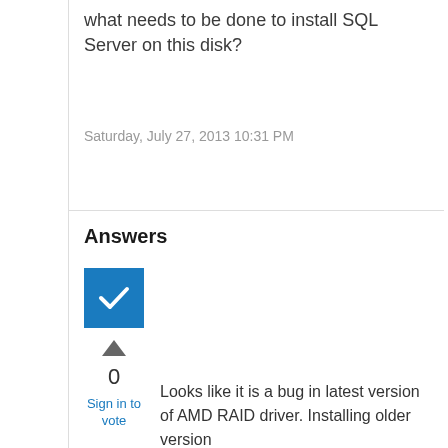what needs to be done to install SQL Server on this disk?
Saturday, July 27, 2013 10:31 PM
Answers
[Figure (other): Blue checkbox/checkmark icon indicating accepted answer]
0
Sign in to vote
Looks like it is a bug in latest version of AMD RAID driver. Installing older version